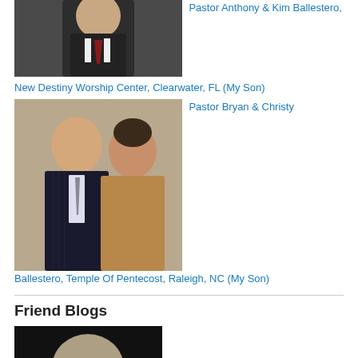[Figure (photo): Top portion of a man in a dark suit with red tie, cropped photo]
Pastor Anthony & Kim Ballestero, New Destiny Worship Center, Clearwater, FL (My Son)
[Figure (photo): Couple photo: man in pinstripe suit with patterned tie and woman in tan/brown wrap]
Pastor Bryan & Christy Ballestero, Temple Of Pentecost, Raleigh, NC (My Son)
Friend Blogs
[Figure (photo): Partially visible photo of a person with light hair against dark background]